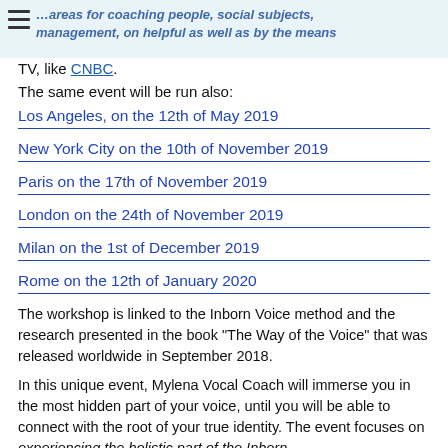[navigation header with hamburger menu and partial text about social subjects management, holistic, by tv, like CNBC]
TV, like CNBC.
The same event will be run also:
Los Angeles, on the 12th of May 2019
New York City on the 10th of November 2019
Paris on the 17th of November 2019
London on the 24th of November 2019
Milan on the 1st of December 2019
Rome on the 12th of January 2020
The workshop is linked to the Inborn Voice method and the research presented in the book “The Way of the Voice” that was released worldwide in September 2018.
In this unique event, Mylena Vocal Coach will immerse you in the most hidden part of your voice, until you will be able to connect with the root of your true identity. The event focuses on experiencing the holistic part of the Inborn...